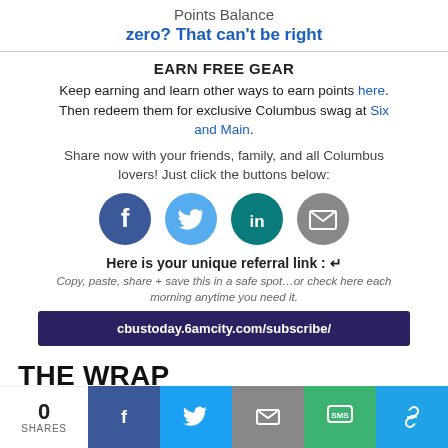Points Balance
zero? That can't be right
EARN FREE GEAR
Keep earning and learn other ways to earn points here. Then redeem them for exclusive Columbus swag at Six and Main.
Share now with your friends, family, and all Columbus lovers! Just click the buttons below:
[Figure (infographic): Four circular social share buttons: Facebook (dark blue), Twitter (light blue), LinkedIn (teal), Email (grey)]
Here is your unique referral link :
Copy, paste, share + save this in a safe spot…or check here each morning anytime you need it.
cbustoday.6amcity.com/subscribe/
THE WRAP
[Figure (infographic): Bottom share toolbar with 0 SHARES count and buttons for Facebook, Twitter, Email, SMS, and link copy]